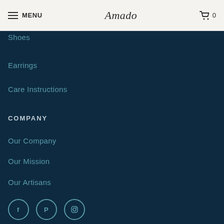MENU | Amado | 0
Shoes
Earrings
Care Instructions
COMPANY
Our Company
Our Mission
Our Artisans
[Figure (other): Social media icons: Facebook, Pinterest, Instagram]
NEWS & UPDATES
Sign up to receive updates on promotions, exclusive